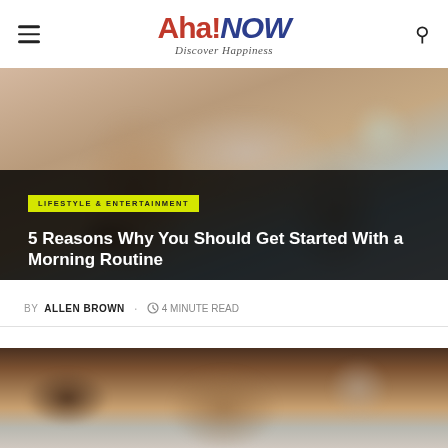Aha!NOW Discover Happiness
[Figure (photo): Blurry photo of a person sitting in a chair, with blurred background and warm tones]
5 Reasons Why You Should Get Started With a Morning Routine
BY ALLEN BROWN · 4 MINUTE READ
[Figure (photo): Blurry close-up photo showing hands on a dark surface, morning routine context]